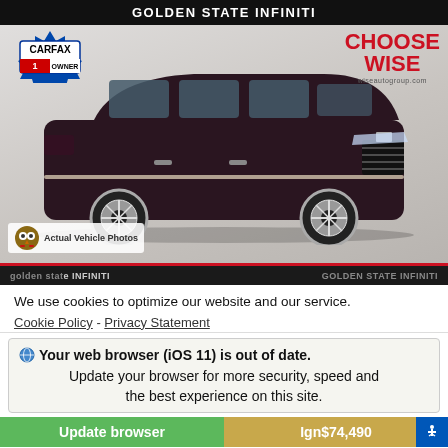GOLDEN STATE INFINITI
[Figure (photo): Dark maroon/black Cadillac Escalade ESV luxury SUV photographed from front-left angle. CARFAX 1 Owner badge top-left. Choose Wise logo top-right. Actual Vehicle Photos label bottom-left with owl mascot.]
golden state INFINITI    GOLDEN STATE INFINITI
We use cookies to optimize our website and our service.
Cookie Policy - Privacy Statement
Your web browser (iOS 11) is out of date. Update your browser for more security, speed and the best experience on this site.
Update browser    Ignore    $74,490